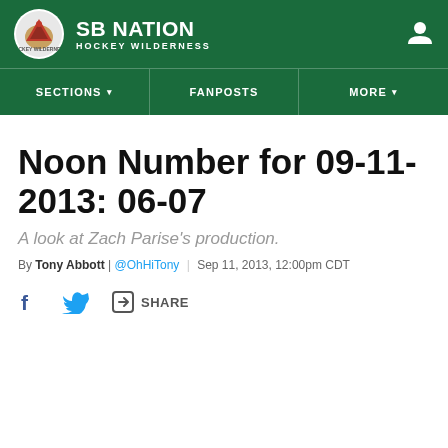SB NATION | HOCKEY WILDERNESS
Noon Number for 09-11-2013: 06-07
A look at Zach Parise's production.
By Tony Abbott | @OhHiTony | Sep 11, 2013, 12:00pm CDT
SHARE